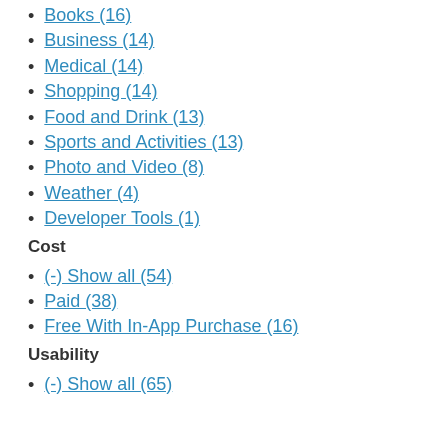Books (16)
Business (14)
Medical (14)
Shopping (14)
Food and Drink (13)
Sports and Activities (13)
Photo and Video (8)
Weather (4)
Developer Tools (1)
Cost
(-) Show all (54)
Paid (38)
Free With In-App Purchase (16)
Usability
(-) Show all (65)